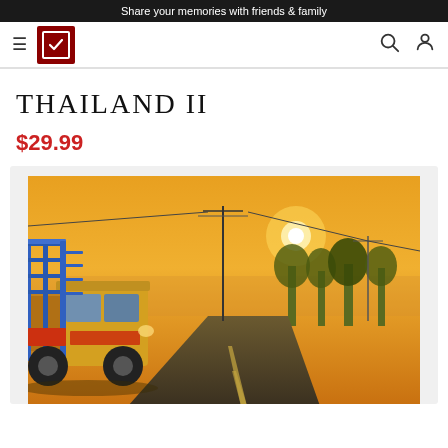Share your memories with friends & family
[Figure (logo): Navigation bar with hamburger menu, red square logo with checkmark, search icon, and user icon]
THAILAND II
$29.99
[Figure (photo): A colorful Thai songthaew (red truck/bus with roof rack) driving on a road at sunset with golden orange sky, utility poles and trees in background]